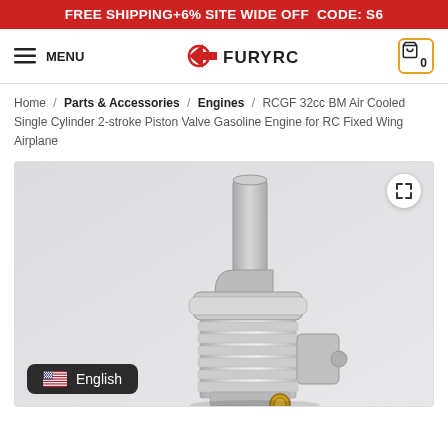FREE SHIPPING+6% SITE WIDE OFF  CODE: S6
[Figure (logo): FuryRC logo with menu button and cart icon showing 0 items]
Home / Parts & Accessories / Engines / RCGF 32cc BM Air Cooled Single Cylinder 2-stroke Piston Valve Gasoline Engine for RC Fixed Wing Airplane
[Figure (photo): RCGF 32cc BM air cooled single cylinder 2-stroke piston valve gasoline engine for RC fixed wing airplane, shown on light gray background. Engine has finned aluminum cylinder, vertical exhaust stack pipe, and carburetor visible at bottom. English language selector button shown in bottom-left corner.]